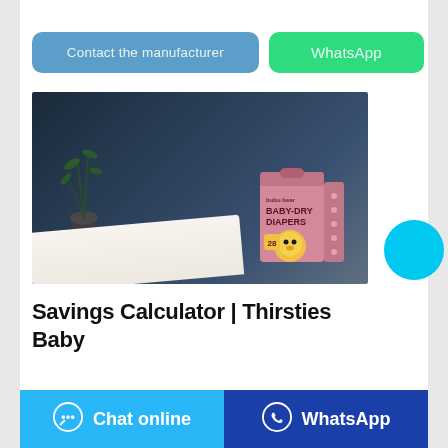[Figure (other): Button: 'Contact the manufacturer' (blue/teal rounded rectangle)]
[Figure (other): Button: 'WhatsApp' (green rounded rectangle)]
[Figure (photo): Product photo of bubu bear Baby Dry Diapers box, pink packaging with cartoon bear character, placed on white cloth against dark blue background with plant and vase]
Savings Calculator | Thirsties Baby
[Figure (other): Bottom bar with 'Chat online' button (light blue) and 'WhatsApp' button (dark blue)]